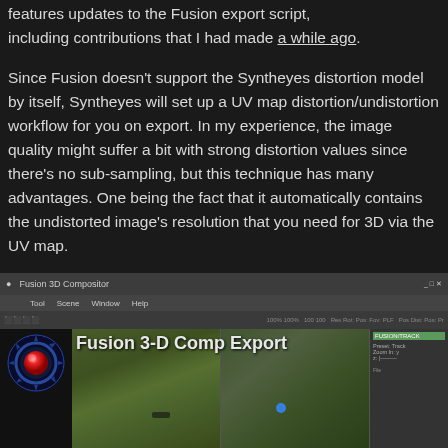features updates to the Fusion export script, including contributions that I had made a while ago.
Since Fusion doesn't support the Syntheyes distortion model by itself, Syntheyes will set up a UV map distortion/undistortion workflow for you on export. In my experience, the image quality might suffer a bit with strong distortion values since there's no sub-sampling, but this technique has many advantages. One being the fact that it automatically contains the undistorted image's resolution that you need for 3D via the UV map.
[Figure (screenshot): Screenshot of Fusion 3-D Comp Export application window showing aerial footage with two viewports and a control panel on the right.]